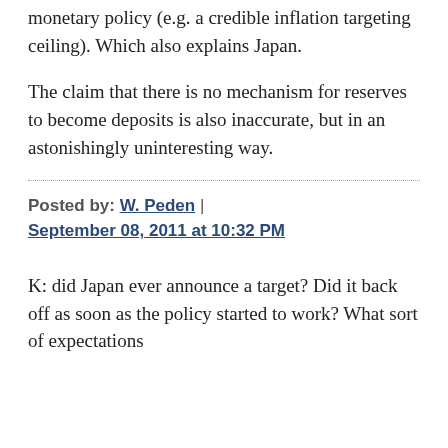monetary policy (e.g. a credible inflation targeting ceiling). Which also explains Japan.
The claim that there is no mechanism for reserves to become deposits is also inaccurate, but in an astonishingly uninteresting way.
Posted by: W. Peden | September 08, 2011 at 10:32 PM
K: did Japan ever announce a target? Did it back off as soon as the policy started to work? What sort of expectations